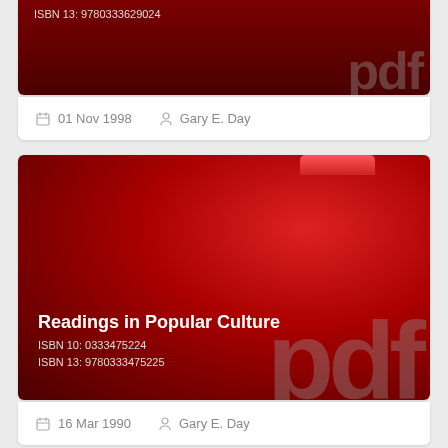[Figure (other): PDF book cover with dark red background and large 'pdf' watermark letters, showing ISBN 13: 9780333629024 at top left]
01 Nov 1998    Gary E. Day
[Figure (other): PDF book cover with red gradient background and folder tab at top right, showing title 'Readings in Popular Culture', ISBN 10: 0333475224, ISBN 13: 9780333475225]
16 Mar 1990    Gary E. Day